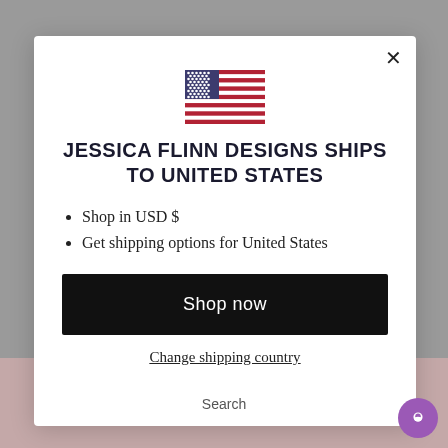[Figure (illustration): US flag SVG inline illustration inside modal popup]
JESSICA FLINN DESIGNS SHIPS TO UNITED STATES
Shop in USD $
Get shipping options for United States
Shop now
Change shipping country
Search
Contact Us